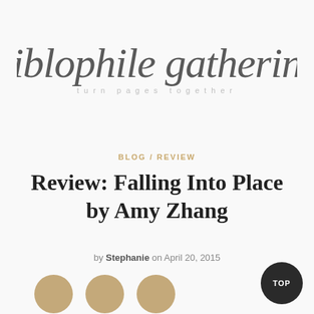biblophile gathering
turn pages together
BLOG / REVIEW
Review: Falling Into Place by Amy Zhang
by Stephanie on April 20, 2015
[Figure (illustration): Three tan/gold decorative circles arranged horizontally]
[Figure (other): Dark circular TOP button in bottom-right corner]